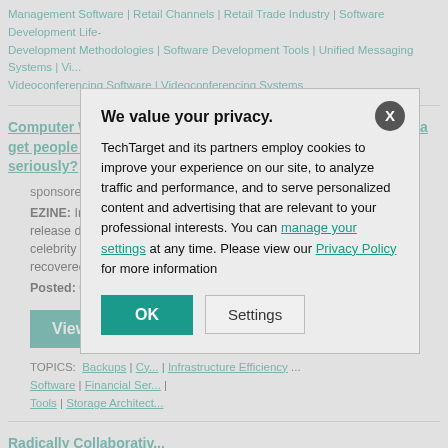Management Software | Retail Channels | Retail Trade Industry | Software Development Life-Cycle | Development Methodologies | Software Development Tools | Unified Messaging Systems | Vi... | Videoconferencing Software | Videoconferencing Systems
Computer Weekly – 26 May 2020: Can Lady Gaga and Madonna get people to take music piracy seriously?
sponsored by ComputerWeekly.com
EZINE: In this week's Computer Weekly, after hackers threatened to release data on celebrity clients, will ... makes systems better ... recovered from its 2...
Posted: 08 Feb 202...
[Figure (other): View Now button in teal/green color]
TOPICS: Backups | Cy... | Infrastructure Efficiency ... | Software | Financial Ser... | Tools | Storage Architect...
Radically Collaborativ...
sponsored by VMwa...
RESOURCE: In this 83-pg encyclopedia, find an in-depth look into various 'pa...
We value your privacy.
TechTarget and its partners employ cookies to improve your experience on our site, to analyze traffic and performance, and to serve personalized content and advertising that are relevant to your professional interests. You can manage your settings at any time. Please view our Privacy Policy for more information